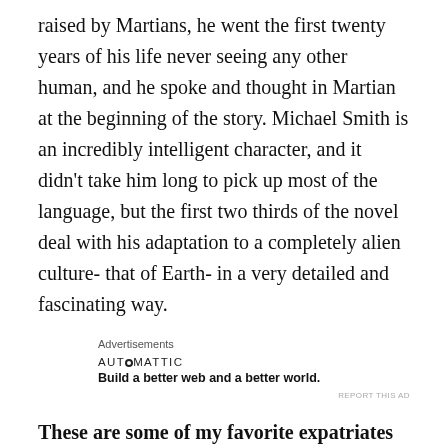raised by Martians, he went the first twenty years of his life never seeing any other human, and he spoke and thought in Martian at the beginning of the story. Michael Smith is an incredibly intelligent character, and it didn't take him long to pick up most of the language, but the first two thirds of the novel deal with his adaptation to a completely alien culture- that of Earth- in a very detailed and fascinating way.
Advertisements
AUTOMATTIC
Build a better web and a better world.
REPORT THIS AD
These are some of my favorite expatriates from Sci-Fi, Fantasy, and Comic Book culture. What are some of your favorites?